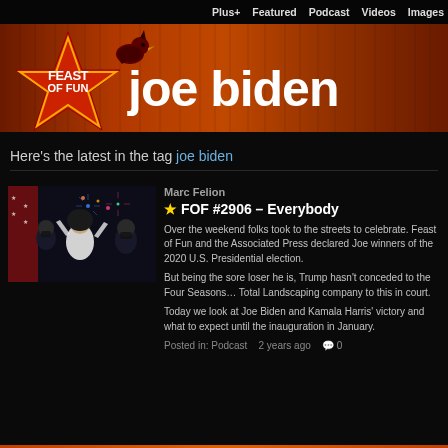Plus+  Featured  Podcast  Videos  Images
[Figure (logo): Feast of Fun logo with red star and cardinal bird, followed by large white text 'joe biden' on a dark woodgrain orange-red background]
Here's the latest in the tag joe biden
[Figure (photo): Photo of people celebrating, figures in masks with fireworks and American flag in background, with a woman in white costume center]
Marc Felion
⭐ FOF #2906 – Everybody
Over the weekend folks took to the streets to celebrate. Feast of Fun and the Associated Press declared Joe winners of the 2020 U.S. Presidential election.
But being the sore loser he is, Trump hasn't conceded to the Four Seasons… Total Landscaping company to this in court.
Today we look at Joe Biden and Kamala Harris' victory and what to expect until the inauguration in January.
Posted in: Podcast   2 years ago  💬 0